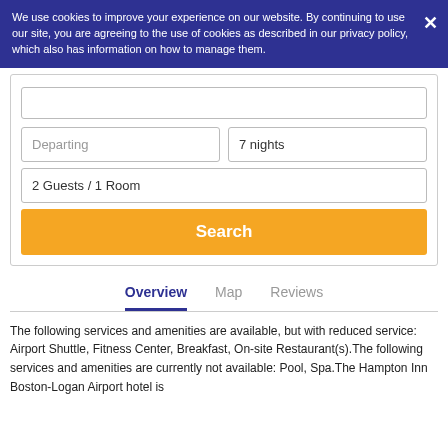We use cookies to improve your experience on our website. By continuing to use our site, you are agreeing to the use of cookies as described in our privacy policy, which also has information on how to manage them.
Departing
7 nights
2 Guests / 1 Room
Search
Overview
Map
Reviews
The following services and amenities are available, but with reduced service: Airport Shuttle, Fitness Center, Breakfast, On-site Restaurant(s).The following services and amenities are currently not available: Pool, Spa.The Hampton Inn Boston-Logan Airport hotel is